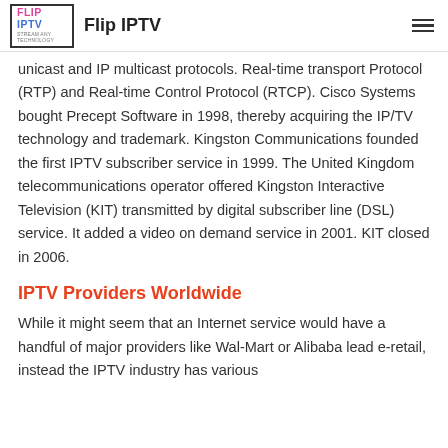Flip IPTV
unicast and IP multicast protocols. Real-time transport Protocol (RTP) and Real-time Control Protocol (RTCP). Cisco Systems bought Precept Software in 1998, thereby acquiring the IP/TV technology and trademark. Kingston Communications founded the first IPTV subscriber service in 1999. The United Kingdom telecommunications operator offered Kingston Interactive Television (KIT) transmitted by digital subscriber line (DSL) service. It added a video on demand service in 2001. KIT closed in 2006.
IPTV Providers Worldwide
While it might seem that an Internet service would have a handful of major providers like Wal-Mart or Alibaba lead e-retail, instead the IPTV industry has various